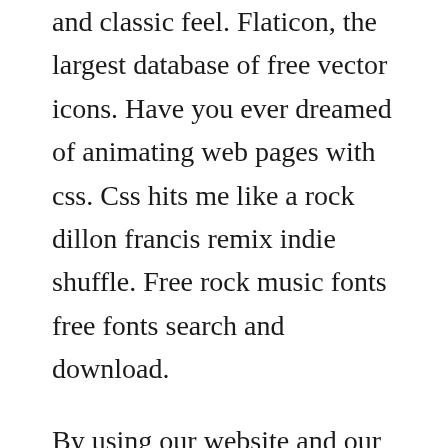and classic feel. Flaticon, the largest database of free vector icons. Have you ever dreamed of animating web pages with css. Css hits me like a rock dillon francis remix indie shuffle. Free rock music fonts free fonts search and download.
By using our website and our services, you agree to our use of cookies as described in our cookie policy. The discography of css, a brazilian electronic rock group formed in sao paulo in 2003, consists of four studio albums, 12 singles and four extended plays contents 1 studio albums. Springer depressed buttons